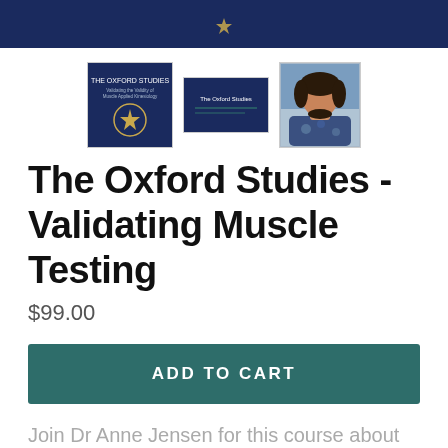[Figure (photo): Three thumbnail images: a dark blue course cover with text and an emblem, a smaller dark blue slide image, and a photo of a woman with dark curly hair]
The Oxford Studies - Validating Muscle Testing
$99.00
ADD TO CART
Join Dr Anne Jensen for this course about her groundbreaking research